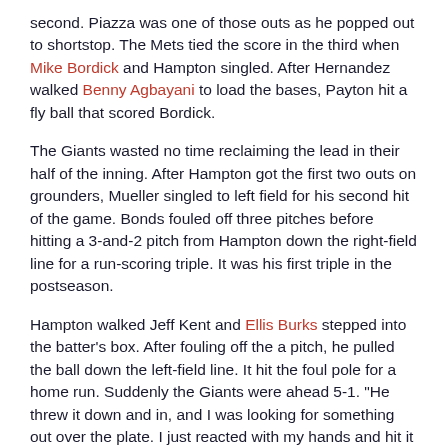second. Piazza was one of those outs as he popped out to shortstop. The Mets tied the score in the third when Mike Bordick and Hampton singled. After Hernandez walked Benny Agbayani to load the bases, Payton hit a fly ball that scored Bordick.
The Giants wasted no time reclaiming the lead in their half of the inning. After Hampton got the first two outs on grounders, Mueller singled to left field for his second hit of the game. Bonds fouled off three pitches before hitting a 3-and-2 pitch from Hampton down the right-field line for a run-scoring triple. It was his first triple in the postseason.
Hampton walked Jeff Kent and Ellis Burks stepped into the batter's box. After fouling off the a pitch, he pulled the ball down the left-field line. It hit the foul pole for a home run. Suddenly the Giants were ahead 5-1. "He threw it down and in, and I was looking for something out over the plate. I just reacted with my hands and hit it fairly well. I knew I had the distance. It was just a matter of keeping it fair or foul," Burks said after the game.3
The Giants took Hampton out of from...